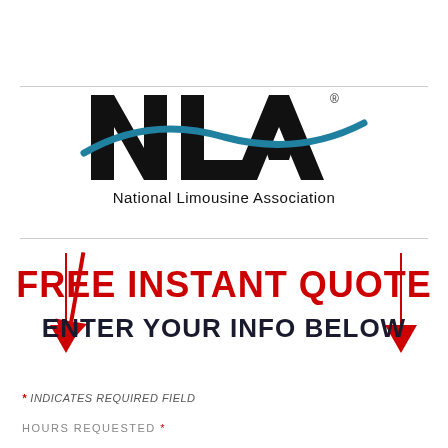[Figure (logo): NLA National Limousine Association logo with large bold NLA letters and a blue swoosh, with 'National Limousine Association' text below]
FREE INSTANT QUOTE
ENTER YOUR INFO BELOW
* INDICATES REQUIRED FIELD
HOURS REQUESTED *